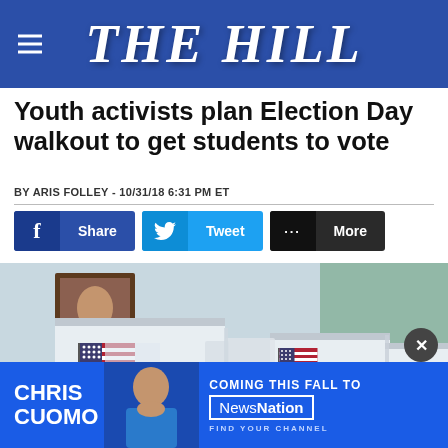THE HILL
Youth activists plan Election Day walkout to get students to vote
BY ARIS FOLLEY - 10/31/18 6:31 PM ET
[Figure (screenshot): Social share buttons: Facebook Share, Twitter Tweet, More]
[Figure (photo): Voting booths with American flags and VOTE labels in a polling station]
[Figure (infographic): Advertisement: Chris Cuomo - Coming This Fall to NewsNation - Find Your Channel]